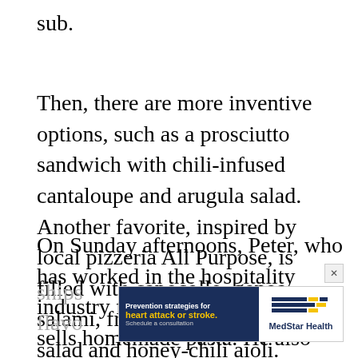sub.
Then, there are more inventive options, such as a prosciutto sandwich with chili-infused cantaloupe and arugula salad. Another favorite, inspired by local pizzeria All Purpose, is filled with capocollo, genoa salami, fresh mozzarella, basil salad and honey-chili aioli.
On Sunday afternoons, Peter, who has worked in the hospitality industry for years, rolls out and sells homemade pasta. He also gets creative with cannolis. (His wife's family owns a cannoli shell company in the North End of Boston, so he ships [faded] ic flavo[faded]
[Figure (advertisement): MedStar Health ad: Prevention strategies for heart attack or stroke. Schedule a consultation. Dark blue background with yellow text on left, MedStar Health logo on right.]